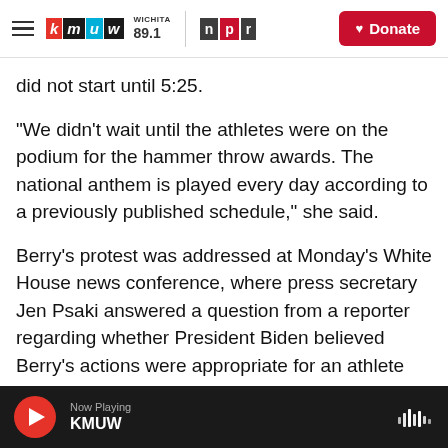KMUW WICHITA 89.1 | NPR | Donate
did not start until 5:25.
"We didn't wait until the athletes were on the podium for the hammer throw awards. The national anthem is played every day according to a previously published schedule," she said.
Berry's protest was addressed at Monday's White House news conference, where press secretary Jen Psaki answered a question from a reporter regarding whether President Biden believed Berry's actions were appropriate for an athlete representing the U.S. at the Olympics.
Now Playing KMUW